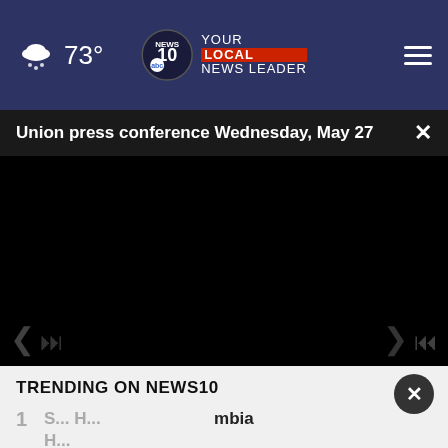73° NEWS10 YOUR LOCAL NEWS LEADER
Union press conference Wednesday, May 27
[Figure (screenshot): Black video player area, appears to be a news video player with no content loaded]
TRENDING ON NEWS10
1 S... H... Columbia
Listen to the new podcast about adoption. Adopt US Kids (ad)